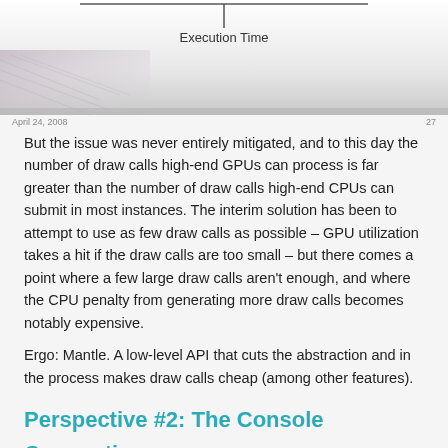[Figure (screenshot): Partial screenshot of a diagram or slide showing 'Execution Time' label and a light gray/white background with grid-like pattern at bottom-left.]
April 24, 2008   27
But the issue was never entirely mitigated, and to this day the number of draw calls high-end GPUs can process is far greater than the number of draw calls high-end CPUs can submit in most instances. The interim solution has been to attempt to use as few draw calls as possible – GPU utilization takes a hit if the draw calls are too small – but there comes a point where a few large draw calls aren't enough, and where the CPU penalty from generating more draw calls becomes notably expensive.
Ergo: Mantle. A low-level API that cuts the abstraction and in the process makes draw calls cheap (among other features).
Perspective #2: The Console Connection
However even with a basic understanding of draw calls and their overhead, so far we haven't really explained why Mantle exists,